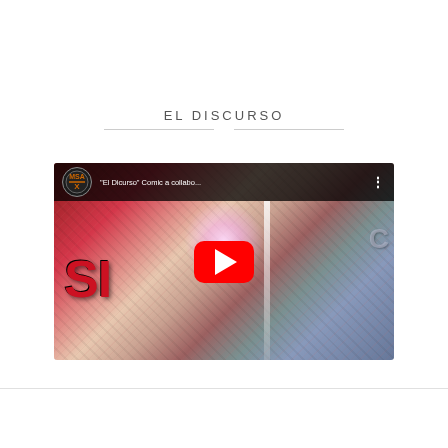EL DISCURSO
[Figure (screenshot): YouTube video thumbnail showing 'El Dicurso Comic a collabo...' with MSA channel logo, red comic-style artwork in background, and large red YouTube play button in center]